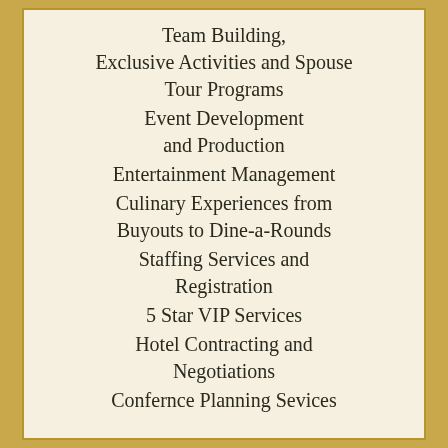Team Building, Exclusive Activities and Spouse Tour Programs
Event Development and Production
Entertainment Management
Culinary Experiences from Buyouts to Dine-a-Rounds
Staffing Services and Registration
5 Star VIP Services
Hotel Contracting and Negotiations
Confernce Planning Sevices